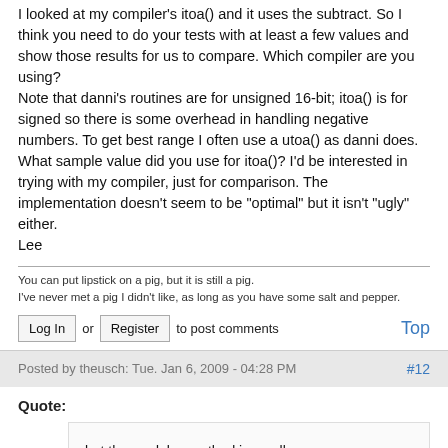I looked at my compiler's itoa() and it uses the subtract. So I think you need to do your tests with at least a few values and show those results for us to compare. Which compiler are you using?
Note that danni's routines are for unsigned 16-bit; itoa() is for signed so there is some overhead in handling negative numbers. To get best range I often use a utoa() as danni does.
What sample value did you use for itoa()? I'd be interested in trying with my compiler, just for comparison. The implementation doesn't seem to be "optimal" but it isn't "ugly" either.
Lee
You can put lipstick on a pig, but it is still a pig.
I've never met a pig I didn't like, as long as you have some salt and pepper.
Log In or Register to post comments
Posted by theusch: Tue. Jan 6, 2009 - 04:28 PM
#12
Quote:
but the modulus method is smaller.
I don't see any examples above of the "modulus" approach--can you show